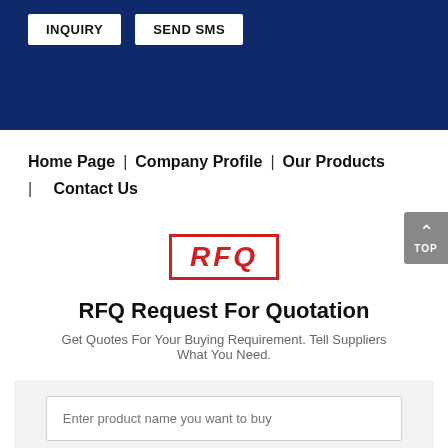[Figure (screenshot): Dark navy blue banner at the top with two white buttons: INQUIRY and SEND SMS]
Home Page | Company Profile | Our Products | Contact Us
[Figure (other): RFQ stamp logo — red rectangular border with bold italic RFQ text inside]
RFQ Request For Quotation
Get Quotes For Your Buying Requirement. Tell Suppliers What You Need.
Enter product name you want to buy